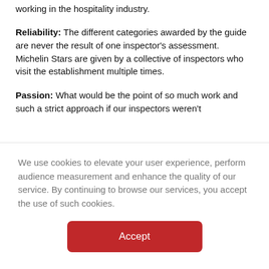working in the hospitality industry.
Reliability: The different categories awarded by the guide are never the result of one inspector's assessment. Michelin Stars are given by a collective of inspectors who visit the establishment multiple times.
Passion: What would be the point of so much work and such a strict approach if our inspectors weren't
We use cookies to elevate your user experience, perform audience measurement and enhance the quality of our service. By continuing to browse our services, you accept the use of such cookies.
Accept